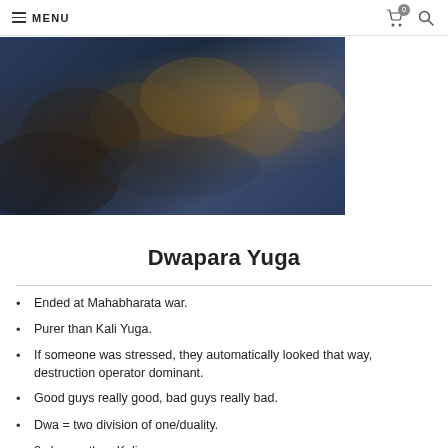MENU
[Figure (photo): Partial view of an ornate Hindu or Balinese sculptural relief with golden decorative figures against a dark blue-green background.]
Dwapara Yuga
Ended at Mahabharata war.
Purer than Kali Yuga.
If someone was stressed, they automatically looked that way, destruction operator dominant.
Good guys really good, bad guys really bad.
Dwa = two division of one/duality.
2x longer than Kali.
People could drink a lot of ghee since they were 10ft tall and...